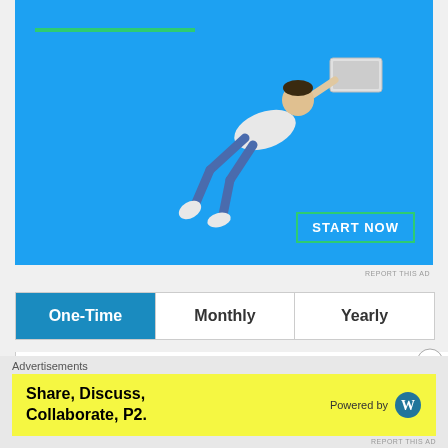[Figure (photo): Advertisement banner with blue background showing a person flying horizontally holding a laptop, a green horizontal line accent, and a START NOW button with green border.]
| One-Time | Monthly | Yearly |
| --- | --- | --- |
Like my work but none of the above options appeal? You could consider a one off donation instead. I would
Advertisements
[Figure (infographic): Yellow advertisement banner: 'Share, Discuss, Collaborate, P2.' with WordPress logo and 'Powered by' text.]